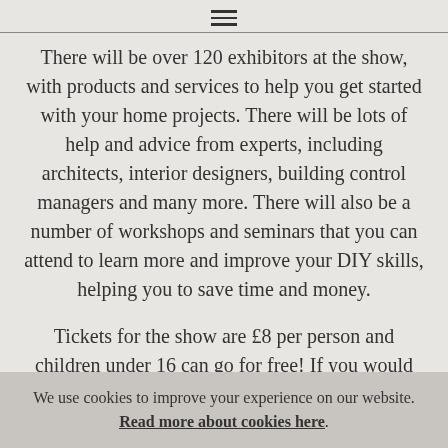≡
There will be over 120 exhibitors at the show, with products and services to help you get started with your home projects. There will be lots of help and advice from experts, including architects, interior designers, building control managers and many more. There will also be a number of workshops and seminars that you can attend to learn more and improve your DIY skills, helping you to save time and money.
Tickets for the show are £8 per person and children under 16 can go for free! If you would like to book
We use cookies to improve your experience on our website. Read more about cookies here.